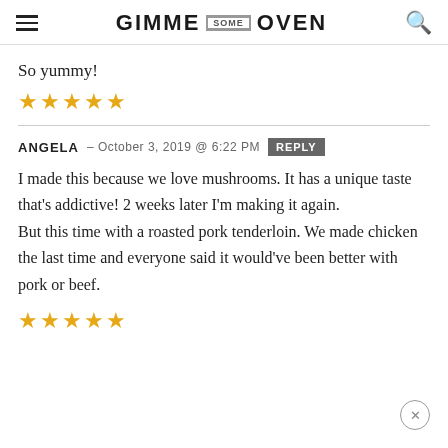GIMME SOME OVEN
So yummy!
[Figure (other): 5 gold stars rating]
ANGELA – OCTOBER 3, 2019 @ 6:22 PM  REPLY
I made this because we love mushrooms. It has a unique taste that's addictive! 2 weeks later I'm making it again. But this time with a roasted pork tenderloin. We made chicken the last time and everyone said it would've been better with pork or beef.
[Figure (other): 5 gold stars rating (partially visible at bottom)]